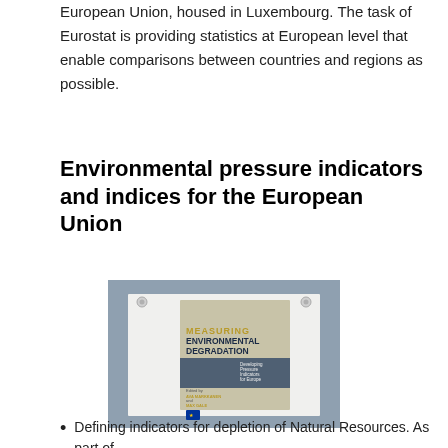European Union, housed in Luxembourg. The task of Eurostat is providing statistics at European level that enable comparisons between countries and regions as possible.
Environmental pressure indicators and indices for the European Union
[Figure (photo): Photo of a book titled 'Measuring Environmental Degradation: Developing Pressure Indicators for Europe', pinned to a blue-grey board. The book cover shows industrial imagery and is edited by two authors, with a European Union logo at the bottom.]
Defining indicators for depletion of Natural Resources. As part of